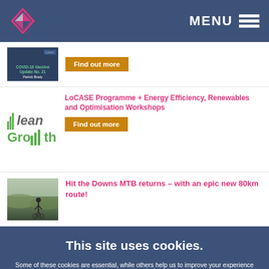MENU
[Figure (screenshot): Thumbnail of COVID-19 Vaccine Update No. 21 by Patrick Brady with a Find out more orange button]
Find out more
[Figure (logo): Clean Growth logo with stylized bar chart icon]
LoCASE Programme + Energy Efficiency, Renewables and Optimisation Workshops
Find out more
[Figure (photo): Photo of cyclist on open hillside landscape]
Hit the Downs MTB returns – with an epic new 80km route!
This site uses cookies.
Some of these cookies are essential, while others help us to improve your experience by providing insights into how the site is being used. For more detailed information on the cookies we use, please check our Privacy Policy
Select preferences
Accept all